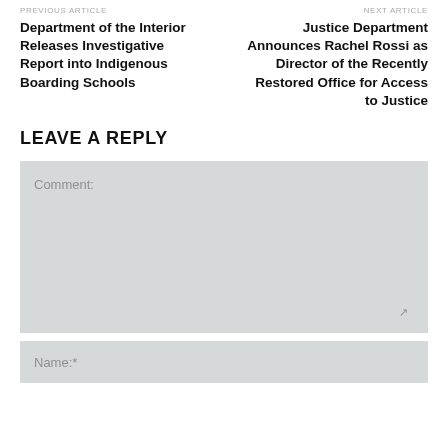PREVIOUS ARTICLE
NEXT ARTICLE
Department of the Interior Releases Investigative Report into Indigenous Boarding Schools
Justice Department Announces Rachel Rossi as Director of the Recently Restored Office for Access to Justice
LEAVE A REPLY
Comment:
Name:*